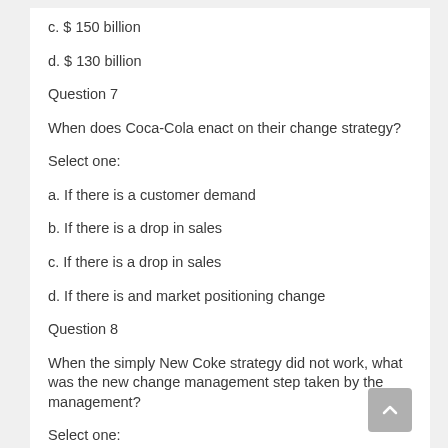c. $ 150 billion
d. $ 130 billion
Question 7
When does Coca-Cola enact on their change strategy?
Select one:
a. If there is a customer demand
b. If there is a drop in sales
c. If there is a drop in sales
d. If there is and market positioning change
Question 8
When the simply New Coke strategy did not work, what was the new change management step taken by the management?
Select one: